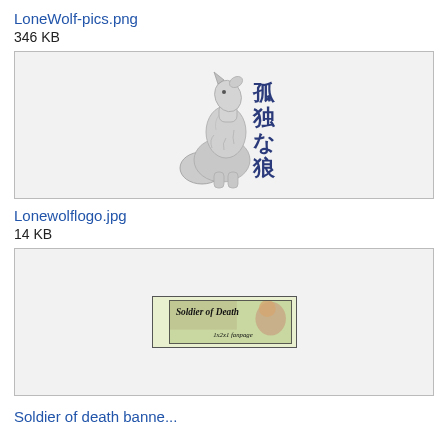LoneWolf-pics.png
346 KB
[Figure (illustration): A howling wolf sitting with Japanese kanji characters (孤独な狼) meaning 'lone wolf' beside it, rendered in pencil/grey tones with dark blue kanji.]
Lonewolflogo.jpg
14 KB
[Figure (logo): A banner image reading 'Soldier of Death' with anime-style artwork and text '1x2x1 fanpage' at the bottom, green and brown tones.]
Soldier of death banne...